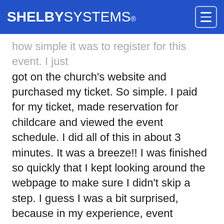SHELBY SYSTEMS®
how simple it was to register for this event. I just got on the church's website and purchased my ticket. So simple. I paid for my ticket, made reservation for childcare and viewed the event schedule. I did all of this in about 3 minutes. It was a breeze!! I was finished so quickly that I kept looking around the webpage to make sure I didn't skip a step. I guess I was a bit surprised, because in my experience, event registration is not usually that simple.
This experience made me think, hum, this church is utilizing their software very well. I realized first-hand the benefits that come from a product like